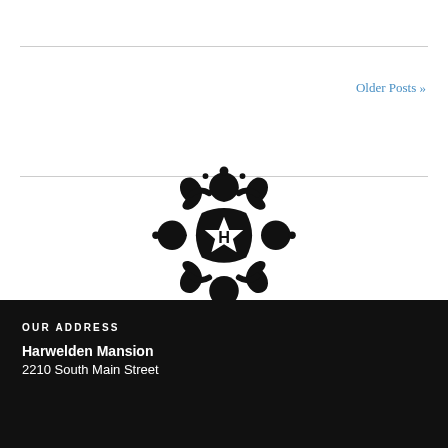Older Posts »
[Figure (logo): Harwelden Mansion decorative emblem/crest logo — black ornate floral/shield design with a white letter H on a star in the center]
OUR ADDRESS
Harwelden Mansion
2210 South Main Street